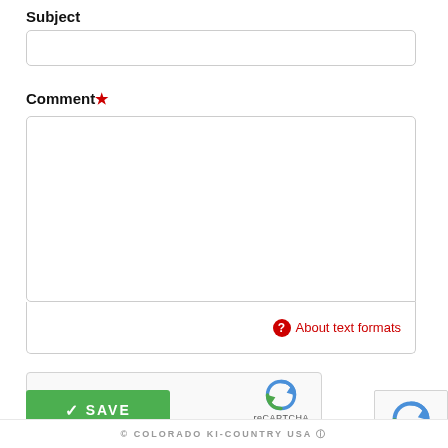Subject
[Figure (screenshot): Empty text input field for Subject]
Comment*
[Figure (screenshot): Large empty textarea for Comment input with resize handle]
About text formats
[Figure (screenshot): reCAPTCHA widget with checkbox labeled I'm not a robot]
[Figure (screenshot): Green SAVE button with checkmark icon]
[Figure (screenshot): Partial reCAPTCHA logo at the bottom right corner]
© COLORADO KI-COUNTRY USA